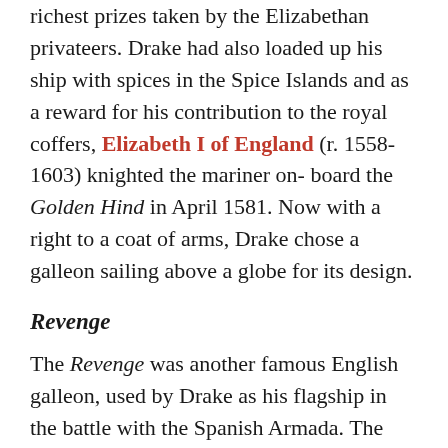richest prizes taken by the Elizabethan privateers. Drake had also loaded up his ship with spices in the Spice Islands and as a reward for his contribution to the royal coffers, Elizabeth I of England (r. 1558-1603) knighted the mariner onboard the Golden Hind in April 1581. Now with a right to a coat of arms, Drake chose a galleon sailing above a globe for its design.
Revenge
The Revenge was another famous English galleon, used by Drake as his flagship in the battle with the Spanish Armada. The Revenge gained even greater fame when, in 1591 in the Azores, it was captained by Sir Richard Grenville (1542-1591). A small English fleet lay in wait for Spanish treasure ships but was surprised by a much larger fleet, perhaps